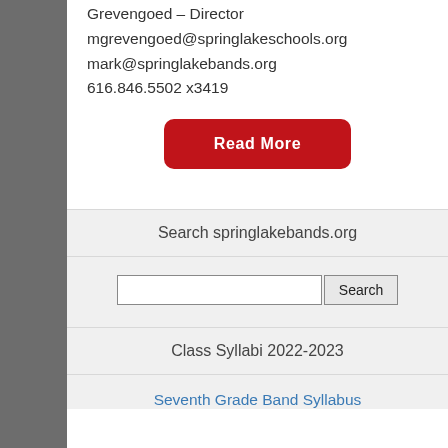Grevengoed – Director
mgrevengoed@springlakeschools.org
mark@springlakebands.org
616.846.5502 x3419
[Figure (other): Red rounded button labeled 'Read More']
Search springlakebands.org
[Figure (other): Search input field with Search button]
Class Syllabi 2022-2023
Seventh Grade Band Syllabus